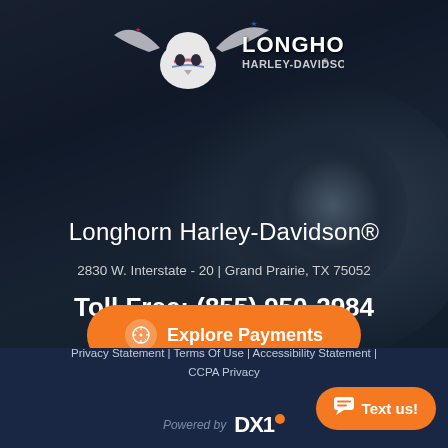[Figure (logo): Longhorn Harley-Davidson logo with longhorn skull and stars on wings, text LONGHORN HARLEY-DAVIDSON above a dark motorcycle background photo]
Longhorn Harley-Davidson®
2830 W. Interstate - 20 | Grand Prairie, TX 75052
Toll Free: (855) 950-2984
Sales: (972) 988-1903
[Figure (infographic): Orange rounded button with compass/navigation icon and text 'Explore Payments']
Privacy Statement | Terms Of Use | Accessibility Statement | CCPA Privacy
Powered by DX1
[Figure (infographic): Orange rounded button with chat icon and text 'Text us!']